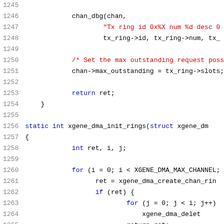Source code listing lines 1245-1266, C language kernel DMA driver code